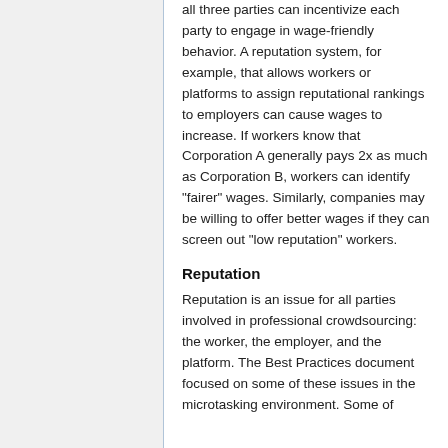all three parties can incentivize each party to engage in wage-friendly behavior. A reputation system, for example, that allows workers or platforms to assign reputational rankings to employers can cause wages to increase. If workers know that Corporation A generally pays 2x as much as Corporation B, workers can identify "fairer" wages. Similarly, companies may be willing to offer better wages if they can screen out "low reputation" workers.
Reputation
Reputation is an issue for all parties involved in professional crowdsourcing: the worker, the employer, and the platform. The Best Practices document focused on some of these issues in the microtasking environment. Some of